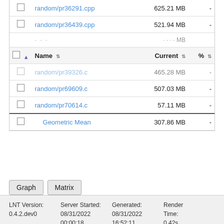|  | Name | Current | % |
| --- | --- | --- | --- |
| ☐ | random/pr36291.cpp | 625.21 MB | - |
| ☐ | random/pr36439.cpp | 521.94 MB | - |
| ☐ | random/pr39326.c | 465.28 MB | - |
| ☐ | random/pr69609.c | 507.03 MB | - |
| ☐ | random/pr70614.c | 57.11 MB | - |
| ☐ | Geometric Mean | 307.86 MB | - |
Graph   Matrix
LNT Version: 0.4.2.dev0   Server Started: 08/31/2022 00:00:18   Generated: 08/31/2022 16:52:11   Render Time: 0.42s